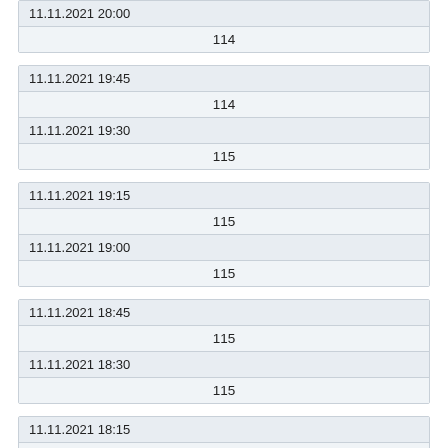| 11.11.2021 20:00 |
| 114 |
| 11.11.2021 19:45 |
| 114 |
| 11.11.2021 19:30 |
| 115 |
| 11.11.2021 19:15 |
| 115 |
| 11.11.2021 19:00 |
| 115 |
| 11.11.2021 18:45 |
| 115 |
| 11.11.2021 18:30 |
| 115 |
| 11.11.2021 18:15 |
| 114 |